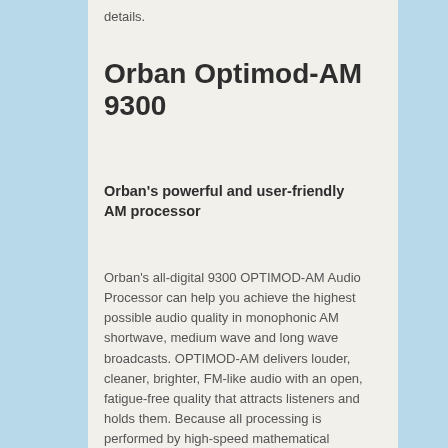details.
Orban Optimod-AM 9300
Orban's powerful and user-friendly AM processor
Orban's all-digital 9300 OPTIMOD-AM Audio Processor can help you achieve the highest possible audio quality in monophonic AM shortwave, medium wave and long wave broadcasts. OPTIMOD-AM delivers louder, cleaner, brighter, FM-like audio with an open, fatigue-free quality that attracts listeners and holds them. Because all processing is performed by high-speed mathematical calculations within Motorola DSP56367 digital signal